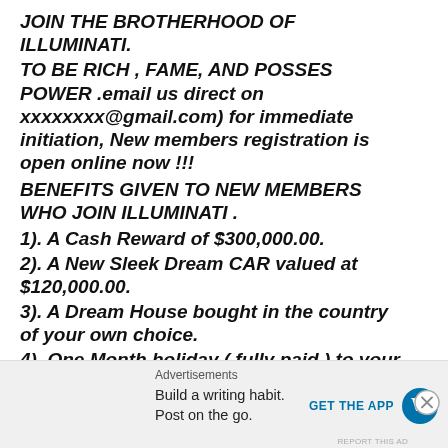JOIN THE BROTHERHOOD OF ILLUMINATI. TO BE RICH , FAME, AND POSSES POWER .email us direct on xxxxxxxx@gmail.com) for immediate initiation, New members registration is open online now !!!
BENEFITS GIVEN TO NEW MEMBERS WHO JOIN ILLUMINATI .
1). A Cash Reward of $300,000.00.
2). A New Sleek Dream CAR valued at $120,000.00.
3). A Dream House bought in the country of your own choice.
4). One Month holiday ( fully paid ) to your dream tourist destination.
Advertisements
Build a writing habit. Post on the go.
GET THE APP